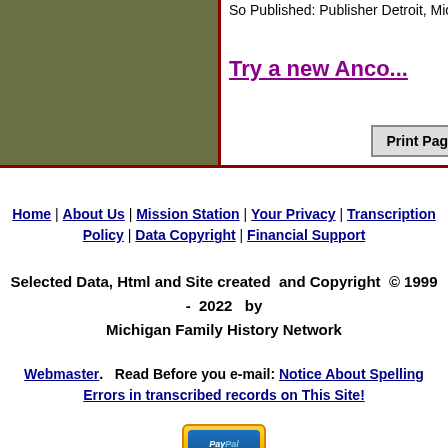[Figure (other): Olive/green colored image block on the left side of the top section]
So Published: Publisher Detroit, Mich...
Try a new Anco...
Print Page
Home | About Us | Mission Station | Your Privacy | Transcription Policy | Data Copyright | Financial Support
Selected Data, Html and Site created and Copyright © 1999 - 2022 by Michigan Family History Network
Webmaster. Read Before you e-mail: Notice About Spelling Errors in transcribed records on This Site!
[Figure (logo): PayPal Donate button]